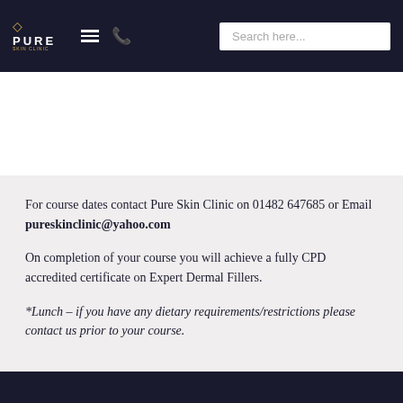PURE SKIN CLINIC — Search here...
For course dates contact Pure Skin Clinic on 01482 647685 or Email pureskinclinic@yahoo.com
On completion of your course you will achieve a fully CPD accredited certificate on Expert Dermal Fillers.
*Lunch – if you have any dietary requirements/restrictions please contact us prior to your course.